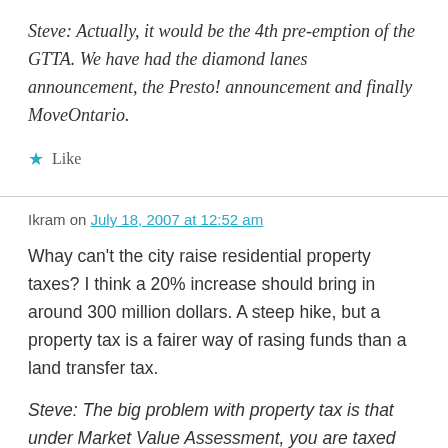Steve: Actually, it would be the 4th pre-emption of the GTTA. We have had the diamond lanes announcement, the Presto! announcement and finally MoveOntario.
★ Like
Ikram on July 18, 2007 at 12:52 am
Whay can't the city raise residential property taxes? I think a 20% increase should bring in around 300 million dollars. A steep hike, but a property tax is a fairer way of rasing funds than a land transfer tax.
Steve: The big problem with property tax is that under Market Value Assessment, you are taxed